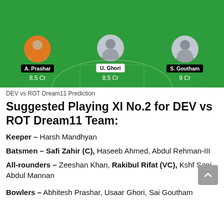[Figure (illustration): Cricket fantasy team lineup on green pitch background showing three player slots: A. Prashar (8.5 Cr), U. Ghori (8.5 Cr), S. Goutham (9 Cr)]
DEV vs ROT Dream11 Prediction
Suggested Playing XI No.2 for DEV vs ROT Dream11 Team:
Keeper – Harsh Mandhyan
Batsmen – Safi Zahir (C), Haseeb Ahmed, Abdul Rehman-III
All-rounders – Zeeshan Khan, Rakibul Rifat (VC), Kshf Sani, Abdul Mannan
Bowlers – Abhitesh Prashar, Usaar Ghori, Sai Goutham